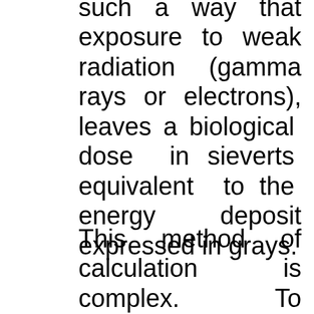such a way that exposure to weak radiation (gamma rays or electrons), leaves a biological dose in sieverts equivalent to the energy deposit expressed in grays.
This method of calculation is complex. To evaluate the doses due to ingestion or